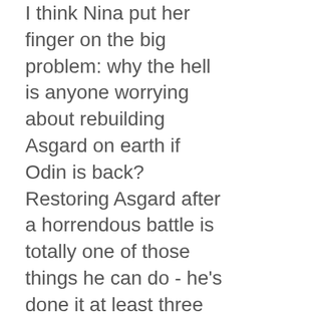I think Nina put her finger on the big problem: why the hell is anyone worrying about rebuilding Asgard on earth if Odin is back? Restoring Asgard after a horrendous battle is totally one of those things he can do - he's done it at least three distinct times in the last couple decades. If I were him, I'd be pissed too - "well, dad, we're going to be squatting in a tent for 18 months because my bros totally need some